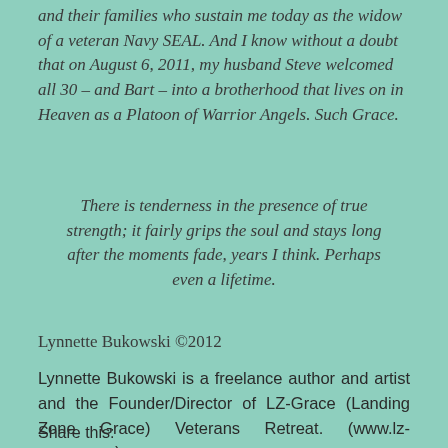and their families who sustain me today as the widow of a veteran Navy SEAL. And I know without a doubt that on August 6, 2011, my husband Steve welcomed all 30 – and Bart – into a brotherhood that lives on in Heaven as a Platoon of Warrior Angels. Such Grace.
There is tenderness in the presence of true strength; it fairly grips the soul and stays long after the moments fade, years I think. Perhaps even a lifetime.
Lynnette Bukowski ©2012
Lynnette Bukowski is a freelance author and artist and the Founder/Director of LZ-Grace (Landing Zone Grace) Veterans Retreat. (www.lz-grace.com)
Share this: